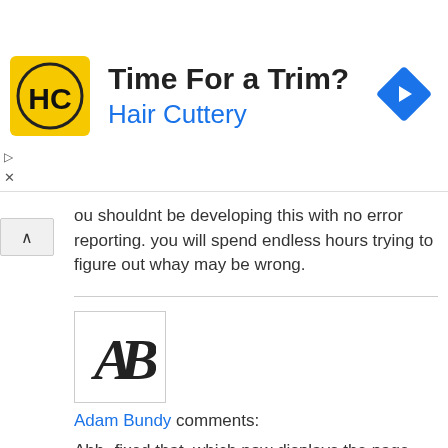[Figure (screenshot): Advertisement banner for Hair Cuttery: yellow logo with HC letters, text 'Time For a Trim?' and 'Hair Cuttery' in blue, navigation arrow icon on right]
ou shouldnt be developing this with no error reporting. you will spend endless hours trying to figure out whay may be wrong.
[Figure (logo): Avatar logo with stylized AB letters]
Adam Bundy comments:
Ahh- fixed that, which now displays the page, but the result is the same- no pagination appearing, 39 posts shown out of 128. Doesnt that mean that it IS paginating, but the pagination links function just isnt getting whatever it needs to detect that it should show nav?